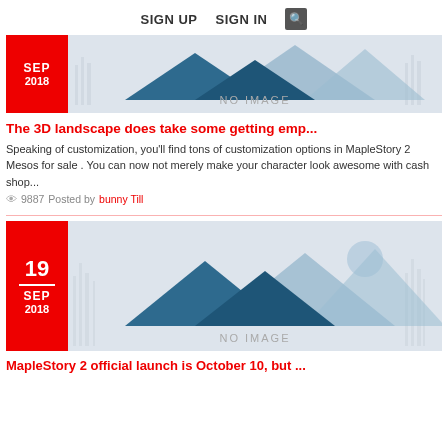SIGN UP   SIGN IN   🔍
[Figure (illustration): No image placeholder with mountain silhouettes, date badge SEP 2018 in red]
The 3D landscape does take some getting emp...
Speaking of customization, you'll find tons of customization options in MapleStory 2 Mesos for sale . You can now not merely make your character look awesome with cash shop...
9887   Posted by bunny Till
[Figure (illustration): No image placeholder with mountain silhouettes, date badge 19 SEP 2018 in red]
MapleStory 2 official launch is October 10, but ...